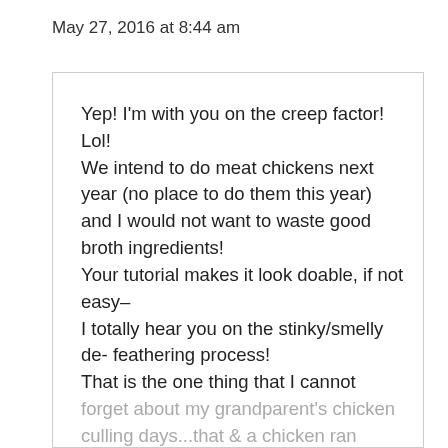May 27, 2016 at 8:44 am
Yep! I'm with you on the creep factor! Lol!
We intend to do meat chickens next year (no place to do them this year) and I would not want to waste good broth ingredients!
Your tutorial makes it look doable, if not easy–
I totally hear you on the stinky/smelly de- feathering process!
That is the one thing that I cannot forget about my grandparent's chicken culling days...that & a chicken ran around with it...